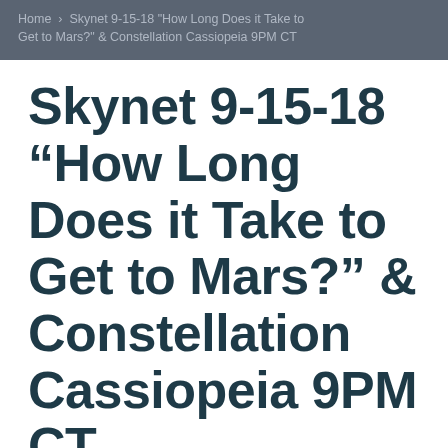Home › Skynet 9-15-18 "How Long Does it Take to Get to Mars?" & Constellation Cassiopeia 9PM CT
Skynet 9-15-18 “How Long Does it Take to Get to Mars?” & Constellation Cassiopeia 9PM CT
September 15, 2018  ke5icx  Uncategorized  News